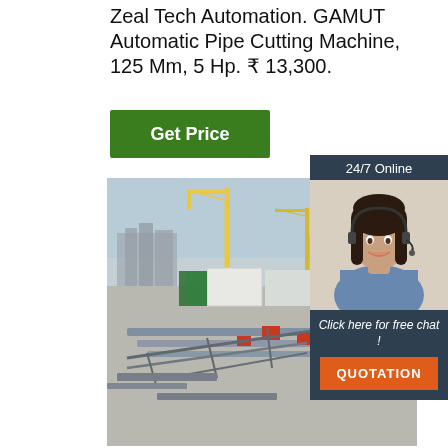Zeal Tech Automation. GAMUT Automatic Pipe Cutting Machine, 125 Mm, 5 Hp. ₹ 13,300.
Get Price
[Figure (photo): Outdoor construction site with cranes, pipe cutting equipment laid out on concrete surface, buildings visible in background under overcast sky]
[Figure (photo): 24/7 Online chat widget showing a smiling woman with headset, 'Click here for free chat!' text, and orange QUOTATION button]